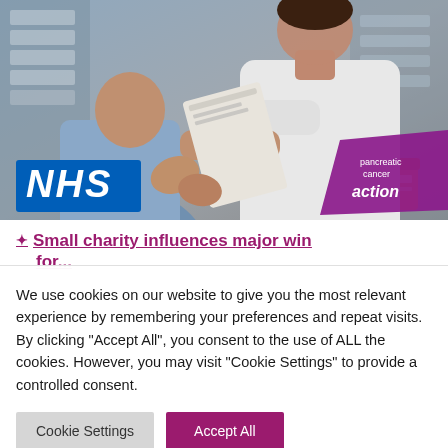[Figure (photo): A pharmacist in white coat handing a medication packet to a patient. NHS logo visible in lower left, Pancreatic Cancer Action banner in lower right corner.]
✦ Small charity influences major win for...
We use cookies on our website to give you the most relevant experience by remembering your preferences and repeat visits. By clicking "Accept All", you consent to the use of ALL the cookies. However, you may visit "Cookie Settings" to provide a controlled consent.